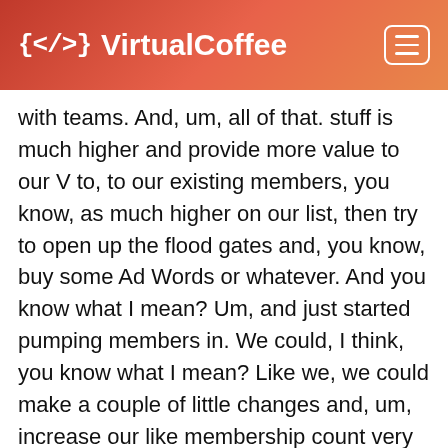{</> VirtualCoffee
with teams. And, um, all of that. stuff is much higher and provide more value to our V to, to our existing members, you know, as much higher on our list, then try to open up the flood gates and, you know, buy some Ad Words or whatever. And you know what I mean? Um, and just started pumping members in. We could, I think, you know what I mean? Like we, we could make a couple of little changes and, um, increase our like membership count very quickly if we want to do. I think, I mean, I'm, I'm not saying like astronomically, but like we could do that. Um, and. I think we can. I mean, we don't have very many members. We